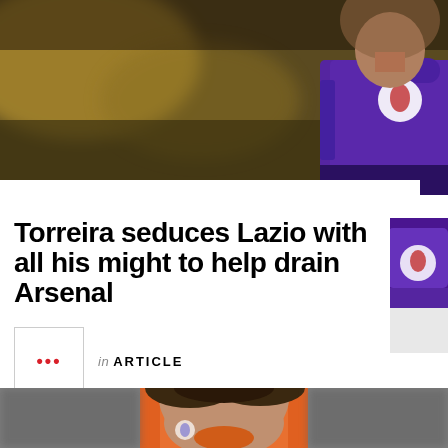[Figure (photo): Cropped photo of a footballer in a purple Fiorentina shirt, shown from torso up, blurred background]
Torreira seduces Lazio with all his might to help drain Arsenal
in ARTICLE
[Figure (photo): Photo of a young goalkeeper in an orange Premier League jersey, curly brown hair, looking forward with mouth slightly open, blurred stadium background]